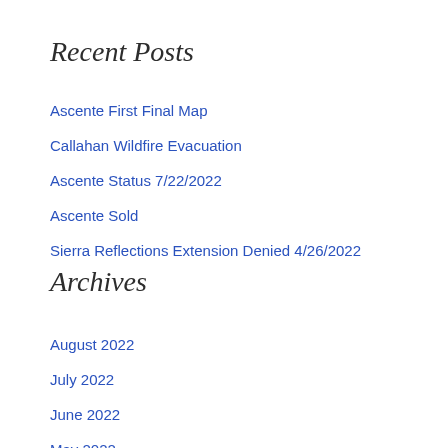Recent Posts
Ascente First Final Map
Callahan Wildfire Evacuation
Ascente Status 7/22/2022
Ascente Sold
Sierra Reflections Extension Denied 4/26/2022
Archives
August 2022
July 2022
June 2022
May 2022
April 2022
March 2022